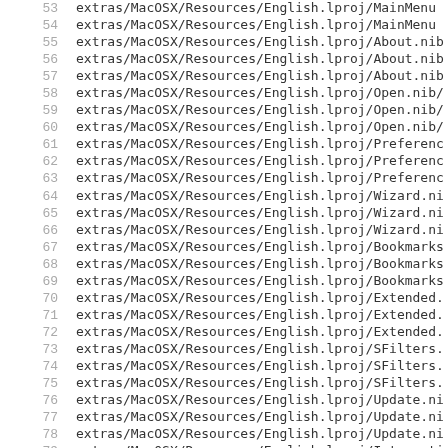53    extras/MacOSX/Resources/English.lproj/MainMenu
54    extras/MacOSX/Resources/English.lproj/MainMenu
55    extras/MacOSX/Resources/English.lproj/About.nib
56    extras/MacOSX/Resources/English.lproj/About.nib
57    extras/MacOSX/Resources/English.lproj/About.nib
58    extras/MacOSX/Resources/English.lproj/Open.nib/
59    extras/MacOSX/Resources/English.lproj/Open.nib/
60    extras/MacOSX/Resources/English.lproj/Open.nib/
61    extras/MacOSX/Resources/English.lproj/Preferenc
62    extras/MacOSX/Resources/English.lproj/Preferenc
63    extras/MacOSX/Resources/English.lproj/Preferenc
64    extras/MacOSX/Resources/English.lproj/Wizard.ni
65    extras/MacOSX/Resources/English.lproj/Wizard.ni
66    extras/MacOSX/Resources/English.lproj/Wizard.ni
67    extras/MacOSX/Resources/English.lproj/Bookmarks
68    extras/MacOSX/Resources/English.lproj/Bookmarks
69    extras/MacOSX/Resources/English.lproj/Bookmarks
70    extras/MacOSX/Resources/English.lproj/Extended.
71    extras/MacOSX/Resources/English.lproj/Extended.
72    extras/MacOSX/Resources/English.lproj/Extended.
73    extras/MacOSX/Resources/English.lproj/SFilters.
74    extras/MacOSX/Resources/English.lproj/SFilters.
75    extras/MacOSX/Resources/English.lproj/SFilters.
76    extras/MacOSX/Resources/English.lproj/Update.ni
77    extras/MacOSX/Resources/English.lproj/Update.ni
78    extras/MacOSX/Resources/English.lproj/Update.ni
79    extras/MacOSX/Resources/English.lproj/Interacti
80    extras/MacOSX/Resources/English.lproj/Interacti
81    extras/MacOSX/Resources/English.lproj/Interacti
82    extras/MacOSX/Resources/English.lproj/Interacti
83    extras/MacOSX/Resources/English.lproj/Interacti
84    extras/MacOSX/Resources/English.lproj/Interacti
85    extras/MacOSX/Resources/English.lproj/Inf.Di